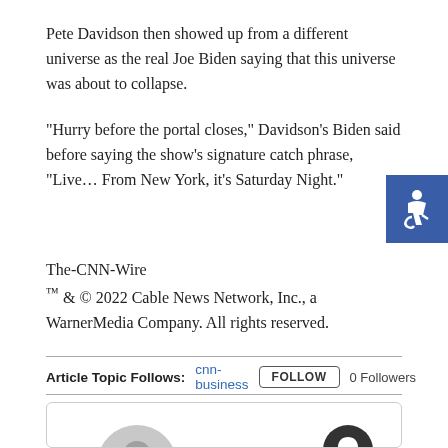Pete Davidson then showed up from a different universe as the real Joe Biden saying that this universe was about to collapse.
“Hurry before the portal closes,” Davidson’s Biden said before saying the show’s signature catch phrase, “Live… From New York, it’s Saturday Night.”
The-CNN-Wire
™ & © 2022 Cable News Network, Inc., a WarnerMedia Company. All rights reserved.
Article Topic Follows: cnn-business  FOLLOW  0 Followers
[Figure (other): User profile card showing CNN avatar with bell notification icon]